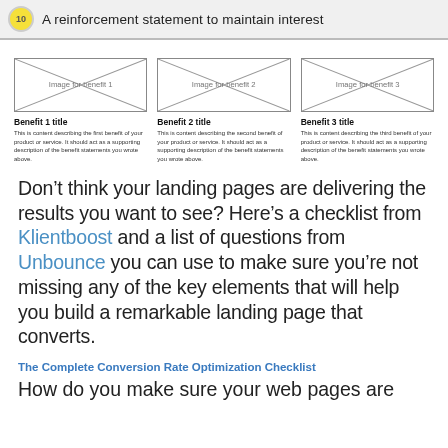A reinforcement statement to maintain interest
[Figure (illustration): Three placeholder image boxes labeled 'Image for benefit 1', 'Image for benefit 2', 'Image for benefit 3' with X-cross wireframe placeholders, each with a benefit title and description below.]
Don't think your landing pages are delivering the results you want to see? Here's a checklist from Klientboost and a list of questions from Unbounce you can use to make sure you're not missing any of the key elements that will help you build a remarkable landing page that converts.
The Complete Conversion Rate Optimization Checklist
How do you make sure your web pages are